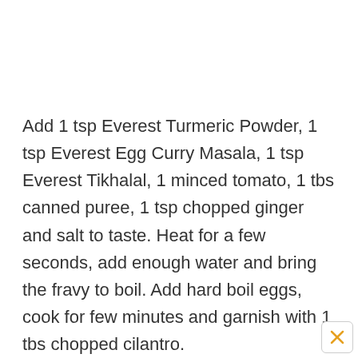Add 1 tsp Everest Turmeric Powder, 1 tsp Everest Egg Curry Masala, 1 tsp Everest Tikhalal, 1 minced tomato, 1 tbs canned puree, 1 tsp chopped ginger and salt to taste. Heat for a few seconds, add enough water and bring the fravy to boil. Add hard boil eggs, cook for few minutes and garnish with 1 tbs chopped cilantro.